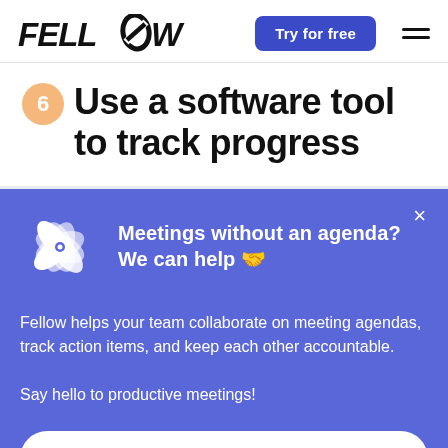FELLOW — Try for free
6  Use a software tool to track progress
Meetings without an agenda? We can help 🤝
Fellow helps your team collaborate on meeting agendas, track action items, and keep each other accountable.

Say hello to productive meetings!
Try Fellow for Free